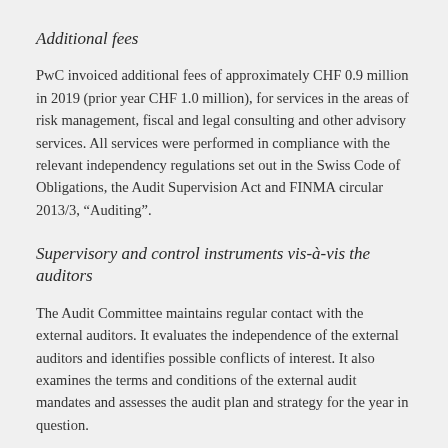Additional fees
PwC invoiced additional fees of approximately CHF 0.9 million in 2019 (prior year CHF 1.0 million), for services in the areas of risk management, fiscal and legal consulting and other advisory services. All services were performed in compliance with the relevant independency regulations set out in the Swiss Code of Obligations, the Audit Supervision Act and FINMA circular 2013/3, “Auditing”.
Supervisory and control instruments vis-à-vis the auditors
The Audit Committee maintains regular contact with the external auditors. It evaluates the independence of the external auditors and identifies possible conflicts of interest. It also examines the terms and conditions of the external audit mandates and assesses the audit plan and strategy for the year in question.
The external auditors submit regular written reports on the status of the auditing work. They also submit detailed